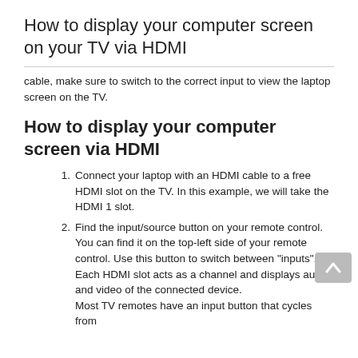How to display your computer screen on your TV via HDMI
cable, make sure to switch to the correct input to view the laptop screen on the TV.
How to display your computer screen via HDMI
Connect your laptop with an HDMI cable to a free HDMI slot on the TV. In this example, we will take the HDMI 1 slot.
Find the input/source button on your remote control. You can find it on the top-left side of your remote control. Use this button to switch between "inputs". Each HDMI slot acts as a channel and displays audio and video of the connected device. Most TV remotes have an input button that cycles from